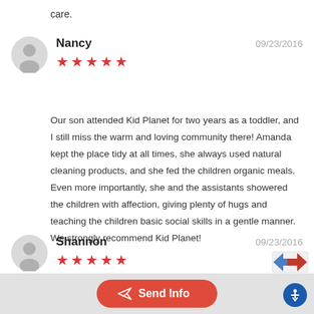care.
Nancy   09/23/2016
★★★★★
Our son attended Kid Planet for two years as a toddler, and I still miss the warm and loving community there! Amanda kept the place tidy at all times, she always used natural cleaning products, and she fed the children organic meals. Even more importantly, she and the assistants showered the children with affection, giving plenty of hugs and teaching the children basic social skills in a gentle manner. We strongly recommend Kid Planet!
Shannon   09/23/2016
★★★★★
We are so thankful we found Kid Planet Daycare! We are a 1 chil…